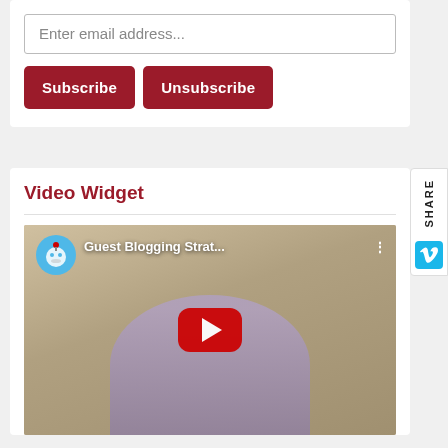Enter email address...
Subscribe
Unsubscribe
Video Widget
[Figure (screenshot): YouTube video embed showing 'Guest Blogging Strat...' with a red play button in the center and a channel avatar on the top left]